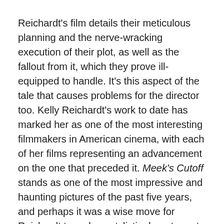Reichardt's film details their meticulous planning and the nerve-wracking execution of their plot, as well as the fallout from it, which they prove ill-equipped to handle. It's this aspect of the tale that causes problems for the director too. Kelly Reichardt's work to date has marked her as one of the most interesting filmmakers in American cinema, with each of her films representing an advancement on the one that preceded it. Meek's Cutoff stands as one of the most impressive and haunting pictures of the past five years, and perhaps it was a wise move for Reichardt to make a stylistic departure at this point in her career, trying something new instead of attempting to emulate or surpass her extraordinary prior work.
Night Moves is her most conventional picture to date, unfolding in a distinct three-act structure with scenes that